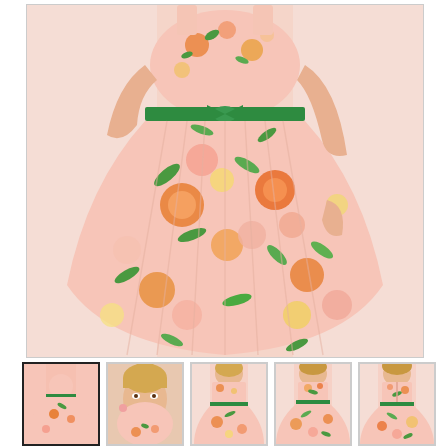[Figure (photo): Main product photo of a woman wearing a pink floral midi dress with orange, yellow, and green flowers, featuring a green belt at the waist and a full pleated skirt. Model has hands in pockets.]
[Figure (photo): Thumbnail 1: Full-length view of the pink floral dress from the front, selected thumbnail.]
[Figure (photo): Thumbnail 2: Close-up portrait of the model wearing the floral dress.]
[Figure (photo): Thumbnail 3: Front view of the floral dress on model showing bodice and skirt.]
[Figure (photo): Thumbnail 4: Another view of the floral dress on model.]
[Figure (photo): Thumbnail 5: Back or side view of the pink floral dress on model.]